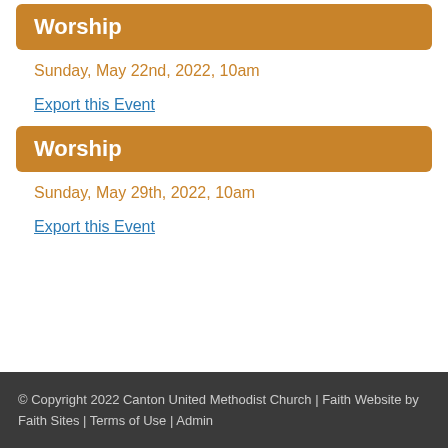Worship
Sunday, May 22nd, 2022, 10am
Export this Event
Worship
Sunday, May 29th, 2022, 10am
Export this Event
© Copyright 2022 Canton United Methodist Church | Faith Website by Faith Sites | Terms of Use | Admin